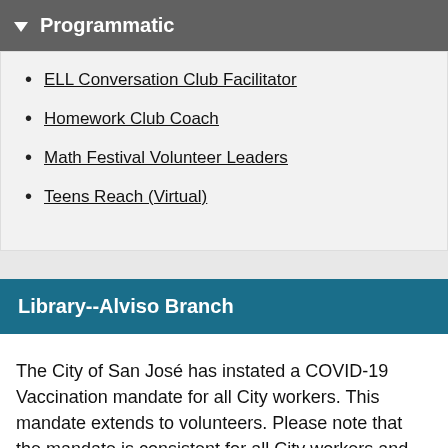Programmatic
ELL Conversation Club Facilitator
Homework Club Coach
Math Festival Volunteer Leaders
Teens Reach (Virtual)
Library--Alviso Branch
The City of San José has instated a COVID-19 Vaccination mandate for all City workers. This mandate extends to volunteers. Please note that the mandate is consistent for all City workers and vaccine verification is required for volunteers and employees that work completely remotely/virtually as well as those that work at a City building.